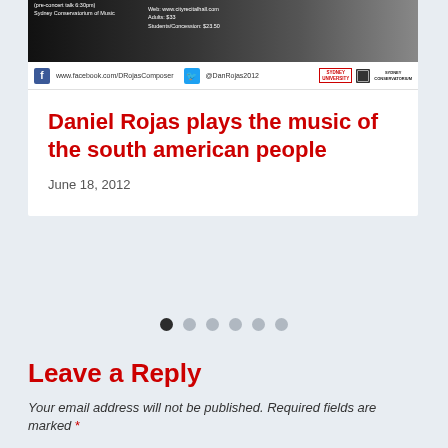[Figure (photo): Dark banner image showing a concert/music event with text overlay including social media links and Sydney Conservatorium of Music branding]
Daniel Rojas plays the music of the south american people
June 18, 2012
[Figure (other): Slideshow dot navigation indicators: 6 dots, first dot is active (dark), rest are light gray]
Leave a Reply
Your email address will not be published. Required fields are marked *